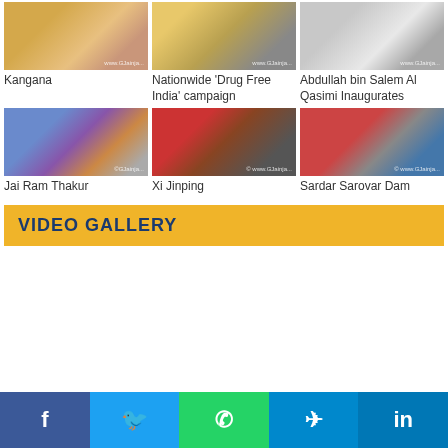[Figure (photo): Photo of Kangana]
Kangana
[Figure (photo): Photo related to Nationwide 'Drug Free India' campaign]
Nationwide 'Drug Free India' campaign
[Figure (photo): Photo of Abdullah bin Salem Al Qasimi Inaugurates]
Abdullah bin Salem Al Qasimi Inaugurates
[Figure (photo): Photo of Jai Ram Thakur]
Jai Ram Thakur
[Figure (photo): Photo of Xi Jinping]
Xi Jinping
[Figure (photo): Photo of Sardar Sarovar Dam]
Sardar Sarovar Dam
VIDEO GALLERY